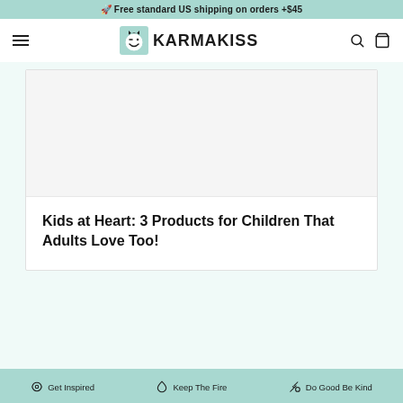🚀 Free standard US shipping on orders +$45
KARMAKISS
Kids at Heart: 3 Products for Children That Adults Love Too!
Get Inspired   Keep The Fire   Do Good Be Kind